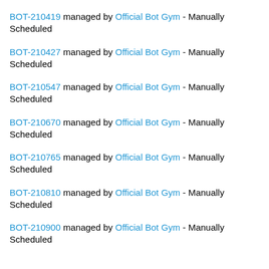BOT-210419 managed by Official Bot Gym - Manually Scheduled
BOT-210427 managed by Official Bot Gym - Manually Scheduled
BOT-210547 managed by Official Bot Gym - Manually Scheduled
BOT-210670 managed by Official Bot Gym - Manually Scheduled
BOT-210765 managed by Official Bot Gym - Manually Scheduled
BOT-210810 managed by Official Bot Gym - Manually Scheduled
BOT-210900 managed by Official Bot Gym - Manually Scheduled